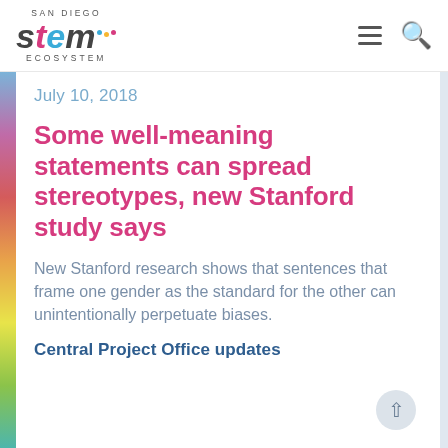[Figure (logo): San Diego STEM Ecosystem logo with stylized 'stem' text in dark, pink, and blue colors with colored dots, menu and search icons in header]
July 10, 2018
Some well-meaning statements can spread stereotypes, new Stanford study says
New Stanford research shows that sentences that frame one gender as the standard for the other can unintentionally perpetuate biases.
Central Project Office updates